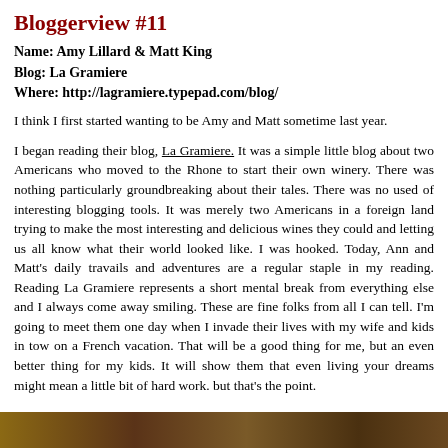Bloggerview #11
Name: Amy Lillard & Matt King
Blog: La Gramiere
Where: http://lagramiere.typepad.com/blog/
I think I first started wanting to be Amy and Matt sometime last year.
I began reading their blog, La Gramiere. It was a simple little blog about two Americans who moved to the Rhone to start their own winery. There was nothing particularly groundbreaking about their tales. There was no used of interesting blogging tools. It was merely two Americans in a foreign land trying to make the most interesting and delicious wines they could and letting us all know what their world looked like. I was hooked. Today, Ann and Matt's daily travails and adventures are a regular staple in my reading. Reading La Gramiere represents a short mental break from everything else and I always come away smiling. These are fine folks from all I can tell. I'm going to meet them one day when I invade their lives with my wife and kids in tow on a French vacation. That will be a good thing for me, but an even better thing for my kids. It will show them that even living your dreams might mean a little bit of hard work. but that's the point.
[Figure (photo): A photo strip at the bottom of the page, showing a dark brownish/warm-toned image, likely of the winery or French countryside.]